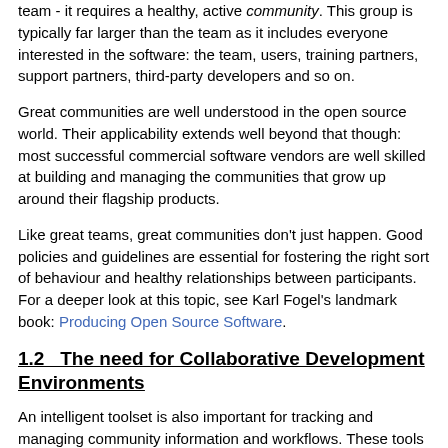team - it requires a healthy, active community. This group is typically far larger than the team as it includes everyone interested in the software: the team, users, training partners, support partners, third-party developers and so on.
Great communities are well understood in the open source world. Their applicability extends well beyond that though: most successful commercial software vendors are well skilled at building and managing the communities that grow up around their flagship products.
Like great teams, great communities don't just happen. Good policies and guidelines are essential for fostering the right sort of behaviour and healthy relationships between participants. For a deeper look at this topic, see Karl Fogel's landmark book: Producing Open Source Software.
1.2   The need for Collaborative Development Environments
An intelligent toolset is also important for tracking and managing community information and workflows. These tools are called Collaborative Development Environments (CDEs). These toolsets are typically web-based and manage things such as announcements, issues/bugs, questions and answers, downloads, documents and source